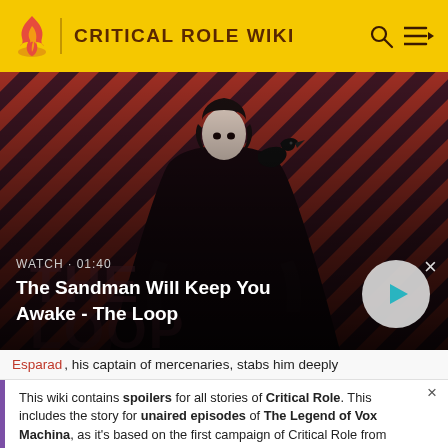CRITICAL ROLE WIKI
[Figure (screenshot): Video thumbnail for 'The Sandman Will Keep You Awake - The Loop' showing a dark-cloaked figure with a raven on shoulder against a red and dark diagonal stripe background. Shows WATCH · 01:40 label and a play button.]
Esparad, his captain of mercenaries, stabs him deeply
This wiki contains spoilers for all stories of Critical Role. This includes the story for unaired episodes of The Legend of Vox Machina, as it's based on the first campaign of Critical Role from 2015-2017.